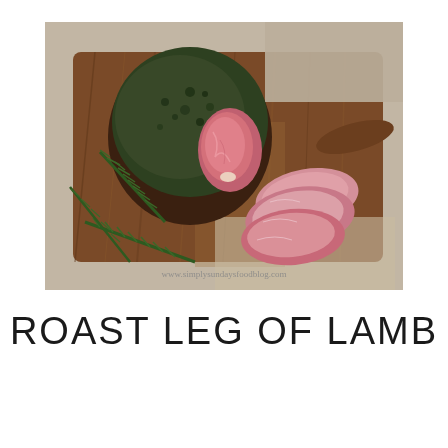[Figure (photo): A herb-crusted roast leg of lamb sliced open on a wooden cutting board, with fresh rosemary sprigs alongside sliced pieces of pink cooked lamb. Watermark reads www.simplysundaysfoodblog.com]
ROAST LEG OF LAMB